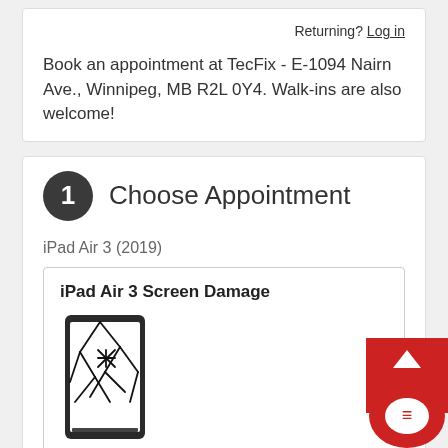Returning? Log in
Book an appointment at TecFix - E-1094 Nairn Ave., Winnipeg, MB R2L 0Y4. Walk-ins are also welcome!
1 Choose Appointment
iPad Air 3 (2019)
iPad Air 3 Screen Damage
[Figure (illustration): iPad with cracked screen illustration]
Is your screen cracked or no longer showing a display? Our